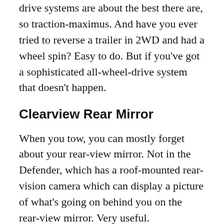drive systems are about the best there are, so traction-maximus. And have you ever tried to reverse a trailer in 2WD and had a wheel spin? Easy to do. But if you've got a sophisticated all-wheel-drive system that doesn't happen.
Clearview Rear Mirror
When you tow, you can mostly forget about your rear-view mirror. Not in the Defender, which has a roof-mounted rear-vision camera which can display a picture of what's going on behind you on the rear-view mirror. Very useful.
Low range without locking the centre diff